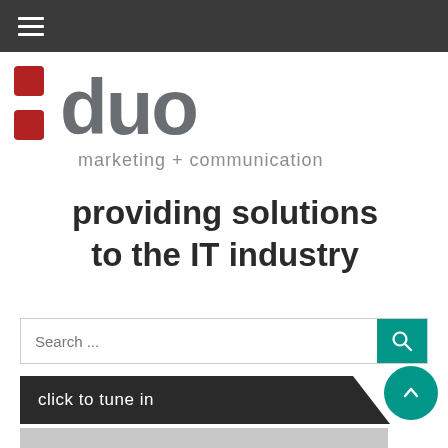Navigation bar with hamburger menu
[Figure (logo): :duo marketing + communications logo with red squares and grey text]
providing solutions to the IT industry
Search ...
click to tune in
[Figure (photo): Partial image of a hand holding a smartphone on grey background]